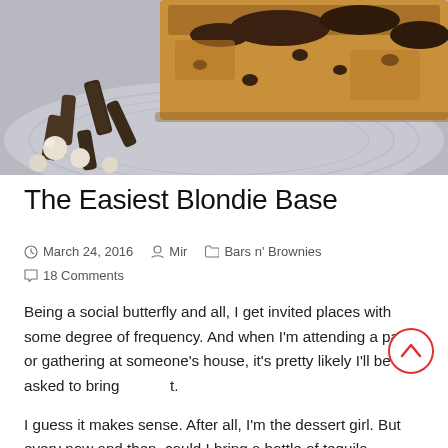[Figure (photo): Close-up photo of a blondie bar on a plate with chocolate chips and white chocolate pieces scattered around]
The Easiest Blondie Base
March 24, 2016   Mir   Bars n' Brownies   18 Comments
Being a social butterfly and all, I get invited places with some degree of frequency. And when I'm attending a party or gathering at someone's house, it's pretty likely I'll be asked to bring t.
I guess it makes sense. After all, I'm the dessert girl. But every now and then, could I bring a bottle of tequila instead? Sharing is caring, ya know.